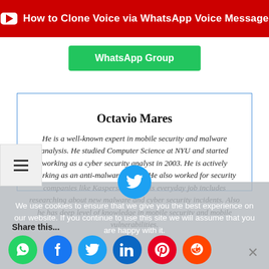[Figure (screenshot): YouTube banner with red background and white play button icon, text: How to Clone Voice via WhatsApp Voice Message]
[Figure (screenshot): Green WhatsApp Group button]
Octavio Mares
He is a well-known expert in mobile security and malware analysis. He studied Computer Science at NYU and started working as a cyber security analyst in 2003. He is actively working as an anti-malware expert. He also worked for security companies like Kaspersky Lab. His everyday job includes researching about new malware and cyber security incidents. Also he has deep level of knowledge in mobile security and mobile vulnerabilities.
[Figure (screenshot): Cookie consent overlay with social sharing icons: WhatsApp, Facebook, Twitter, LinkedIn, Pinterest, Reddit. Cookie text: We use cookies to ensure that we give you the best experience on our website. If you continue to use this site we will assume that you are happy with it.]
Share this...